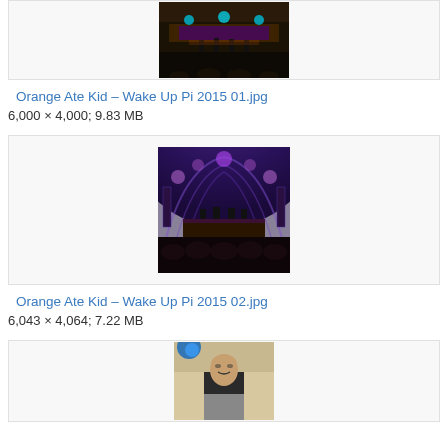[Figure (photo): Concert stage photo showing band performing under purple/blue lights, crowd visible, partial view at top of page]
Orange Ate Kid – Wake Up Pi 2015 01.jpg
6,000 × 4,000; 9.83 MB
[Figure (photo): Concert venue photo showing arched ceiling with purple lights, band on stage, crowd in foreground]
Orange Ate Kid – Wake Up Pi 2015 02.jpg
6,043 × 4,064; 7.22 MB
[Figure (photo): Singer performing, head tilted back, wearing dark t-shirt, blue stage light visible]